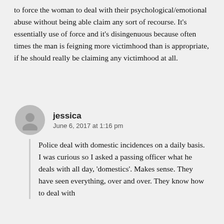to force the woman to deal with their psychological/emotional abuse without being able claim any sort of recourse. It's essentially use of force and it's disingenuous because often times the man is feigning more victimhood than is appropriate, if he should really be claiming any victimhood at all.
jessica
June 6, 2017 at 1:16 pm
Police deal with domestic incidences on a daily basis. I was curious so I asked a passing officer what he deals with all day, 'domestics'. Makes sense. They have seen everything, over and over. They know how to deal with